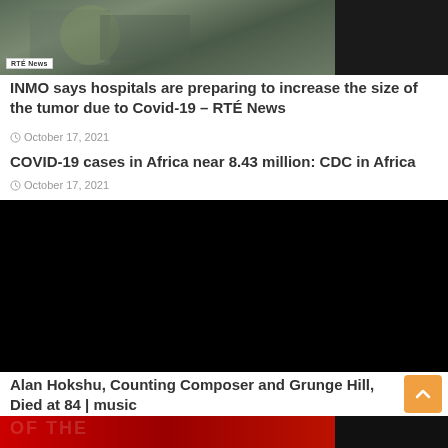[Figure (photo): News article thumbnail showing a medical/surgical scene with RTÉ News watermark on left, black panel on right]
INMO says hospitals are preparing to increase the size of the tumor due to Covid-19 – RTÉ News
October 17, 2021
COVID-19 cases in Africa near 8.43 million: CDC in Africa
October 17, 2021
[Figure (photo): Black image/video thumbnail for news article]
Alan Hokshu, Counting Composer and Grunge Hill, Died at 84 | music
October 17, 2021
[Figure (photo): Partial thumbnail with red background showing a person, partially visible at bottom of page]